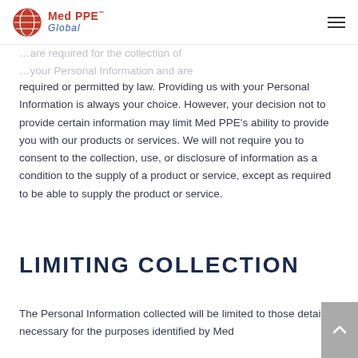Med PPE Global
required or permitted by law. Providing us with your Personal Information is always your choice. However, your decision not to provide certain information may limit Med PPE's ability to provide you with our products or services. We will not require you to consent to the collection, use, or disclosure of information as a condition to the supply of a product or service, except as required to be able to supply the product or service.
LIMITING COLLECTION
The Personal Information collected will be limited to those details necessary for the purposes identified by Med